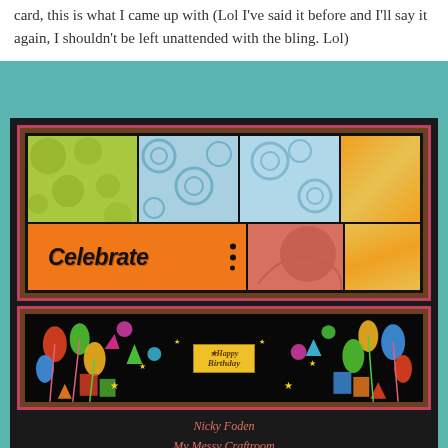card, this is what I came up with (Lol I've said it before and I'll say it again, I shouldn't be left unattended with the bling. Lol)
[Figure (photo): A handmade birthday card layout shown in two parts: top portion shows a scrapbook card with colorful patterned paper panels (green circles, blue swirls, orange/salmon) with 'Celebrate' text on orange panel; bottom portion shows a decorative banner strip with birthday balloons, stars and party decorations on black background with a 'Happy Birthday' yellow label in the center. Below the photos is a pink/salmon credit text reading 'Nicky Foden / My Messy Craftroom'.]